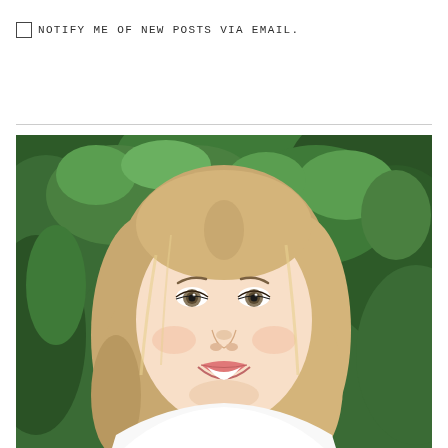NOTIFY ME OF NEW POSTS VIA EMAIL.
[Figure (photo): Portrait photo of a young blonde woman smiling, with green foliage in the background. She is wearing a white top and has shoulder-length wavy blonde hair.]